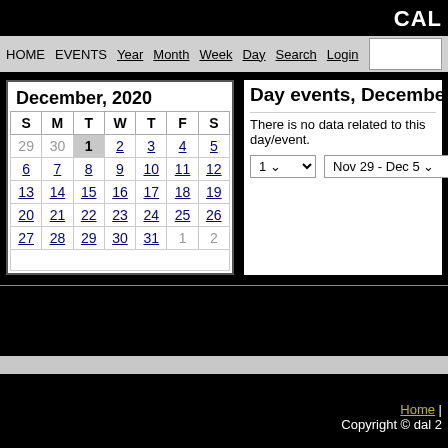CAL
HOME EVENTS  Year  Month  Week  Day  Search  Login  -- Category --
December, 2020
| S | M | T | W | T | F | S |
| --- | --- | --- | --- | --- | --- | --- |
| 29 | 30 | 1 | 2 | 3 | 4 | 5 |
| 6 | 7 | 8 | 9 | 10 | 11 | 12 |
| 13 | 14 | 15 | 16 | 17 | 18 | 19 |
| 20 | 21 | 22 | 23 | 24 | 25 | 26 |
| 27 | 28 | 29 | 30 | 31 | 1 | 2 |
Day events, December 1, 2020,
There is no data related to this day/event.
1  Nov 29 - Dec 5
Home | Copyright © dal 2
[Figure (screenshot): Calendar web application screenshot showing December 2020]